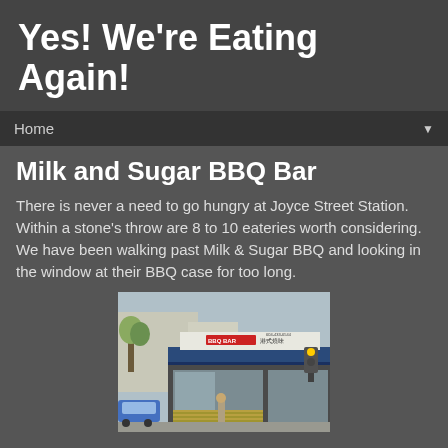Yes! We're Eating Again!
Home
Milk and Sugar BBQ Bar
There is never a need to go hungry at Joyce Street Station. Within a stone's throw are 8 to 10 eateries worth considering. We have been walking past Milk & Sugar BBQ and looking in the window at their BBQ case for too long.
[Figure (photo): Street-level exterior photo of Milk and Sugar BBQ Bar storefront with signage reading BBQ BAR and Chinese characters, blue awning, and a street scene with pedestrians and a blue car visible.]